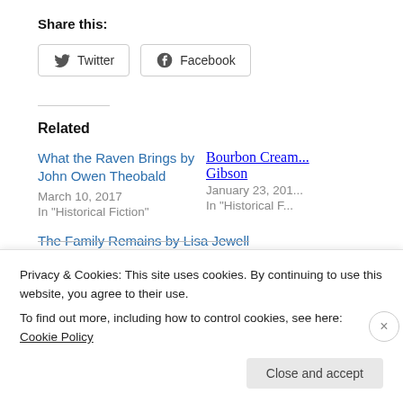Share this:
Twitter   Facebook
Related
What the Raven Brings by John Owen Theobald
March 10, 2017
In "Historical Fiction"
Bourbon Cream... Gibson
January 23, 201...
In "Historical F..."
The Family Remains by Lisa Jewell
Privacy & Cookies: This site uses cookies. By continuing to use this website, you agree to their use.
To find out more, including how to control cookies, see here: Cookie Policy
Close and accept